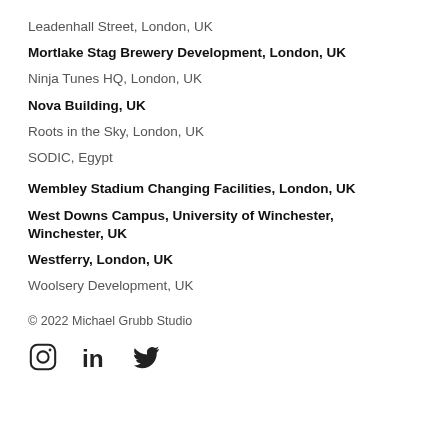Leadenhall Street, London, UK
Mortlake Stag Brewery Development, London, UK
Ninja Tunes HQ, London, UK
Nova Building, UK
Roots in the Sky, London, UK
SODIC, Egypt
Wembley Stadium Changing Facilities, London, UK
West Downs Campus, University of Winchester, Winchester, UK
Westferry, London, UK
Woolsery Development, UK
© 2022 Michael Grubb Studio